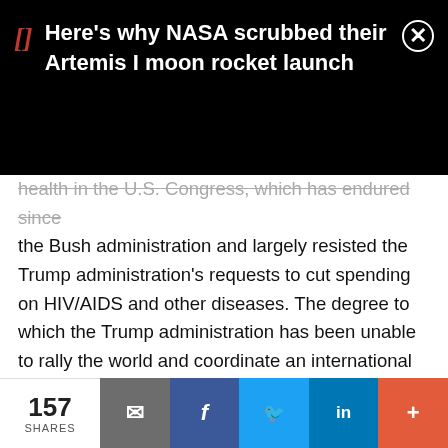[Figure (screenshot): Black notification bar showing a push notification: red bracket icon, white text 'Here's why NASA scrubbed their Artemis I moon rocket launch', with a close (X) button]
health in the U.S. Congress, which has endured since the Bush administration and largely resisted the Trump administration's requests to cut spending on HIV/AIDS and other diseases. The degree to which the Trump administration has been unable to rally the world and coordinate an international response to this crisis seems mostly ascribable to the beliefs and temperament of the president himself.
Money is not the only area where leadership is required, though. Policy coordination or fiscal stimulus is needed
[Figure (infographic): Social share bar at bottom: '157 SHARES' count on white, then buttons for email (grey), Facebook (blue), Twitter (light blue), LinkedIn (dark blue), More (orange-red)]